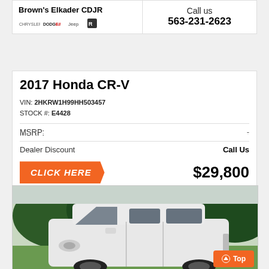Brown's Elkader CDJR
Call us
563-231-2623
2017 Honda CR-V
VIN: 2HKRW1H99HH503457
STOCK #: E4428
|  |  |
| --- | --- |
| MSRP: | - |
| Dealer Discount | Call Us |
CLICK HERE
$29,800
[Figure (photo): White high-roof van (Ford Transit Connect) parked outdoors with trees in background]